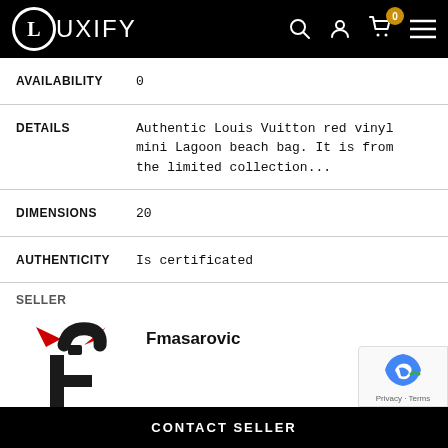LUXIFY
| Field | Value |
| --- | --- |
| AVAILABILITY | 0 |
| DETAILS | Authentic Louis Vuitton red vinyl mini Lagoon beach bag. It is from the limited collection... |
| DIMENSIONS | 20 |
| AUTHENTICITY | Is certificated |
SELLER
[Figure (logo): Seller logo: stylized letter f with devil horns in red, on white background]
Fmasarovic
CONTACT SELLER